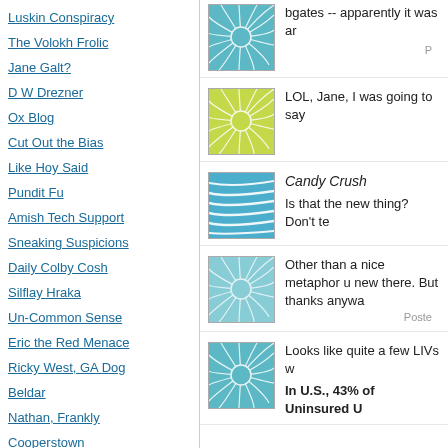Luskin Conspiracy
The Volokh Frolic
Jane Galt?
D W Drezner
Ox Blog
Cut Out the Bias
Like Hoy Said
Pundit Fu
Amish Tech Support
Sneaking Suspicions
Daily Colby Cosh
Silflay Hraka
Un-Common Sense
Eric the Red Menace
Ricky West, GA Dog
Beldar
Nathan, Frankly
Cooperstown
[Figure (illustration): Teal/cyan circular pattern avatar icon]
bgates -- apparently it was ar
P
[Figure (illustration): Yellow-green circular pattern avatar icon]
LOL, Jane, I was going to say
[Figure (illustration): Blue wave pattern avatar icon]
Candy Crush
Is that the new thing? Don't te
[Figure (illustration): Teal/cyan circular pattern avatar icon (lighter)]
Other than a nice metaphor u new there. But thanks anywa
Poste
[Figure (illustration): Teal/cyan circular pattern avatar icon]
Looks like quite a few LIVs w
In U.S., 43% of Uninsured U